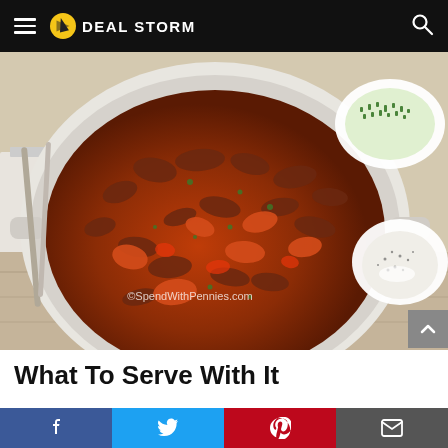DEAL STORM
[Figure (photo): A large white pan filled with bolognese meat sauce with tomatoes, ground meat, and carrots, garnished with fresh herbs. A bowl of chopped herbs and a bowl of salt and pepper visible in background. Watermark: ©SpendWithPennies.com]
What To Serve With It
I like to serve this bolognese over pappardelle or tagliatelle,